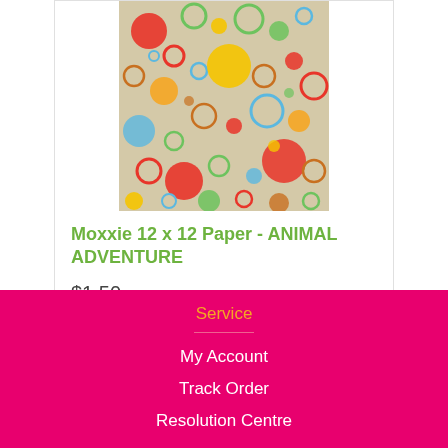[Figure (photo): Product image of colorful circles and bubbles pattern on beige background - Moxxie 12x12 scrapbook paper]
Moxxie 12 x 12 Paper - ANIMAL ADVENTURE
$1.50
Add to Cart
Service
My Account
Track Order
Resolution Centre